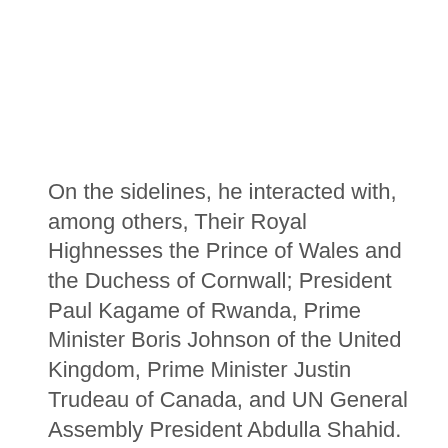On the sidelines, he interacted with, among others, Their Royal Highnesses the Prince of Wales and the Duchess of Cornwall; President Paul Kagame of Rwanda, Prime Minister Boris Johnson of the United Kingdom, Prime Minister Justin Trudeau of Canada, and UN General Assembly President Abdulla Shahid.
At the Intergenerational Dialogue, Pakistan was
[Figure (other): Social media share icons row: WhatsApp (green), Facebook (blue), Twitter (light blue), LinkedIn (dark blue), Telegram (blue), Pinterest (red), Reddit (orange-red), Email/envelope (dark red)]